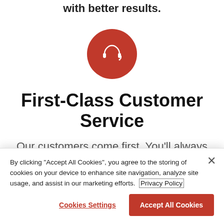with better results.
[Figure (illustration): Red circle with white headset/customer service icon in the center]
First-Class Customer Service
Our customers come first. You'll always
By clicking "Accept All Cookies", you agree to the storing of cookies on your device to enhance site navigation, analyze site usage, and assist in our marketing efforts. Privacy Policy
Cookies Settings
Accept All Cookies